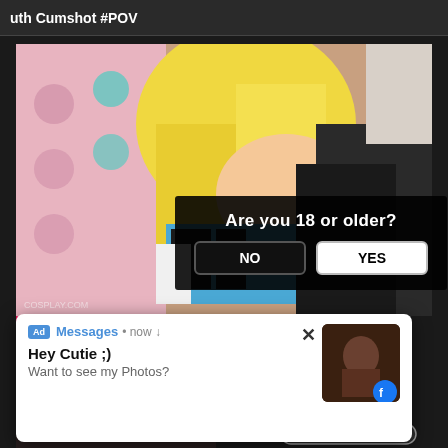uth Cumshot #POV
[Figure (photo): Screenshot of adult video website showing cosplay content with age verification overlay dialog asking 'Are you 18 or older?' with NO and YES buttons]
Are you 18 or older?
NO
YES
Cospuri 0146
[Figure (screenshot): Ad notification popup: Messages now - Hey Cutie ;) Want to see my Photos? with thumbnail image]
Ad Messages • now
Hey Cutie ;)
Want to see my Photos?
TAP HERE